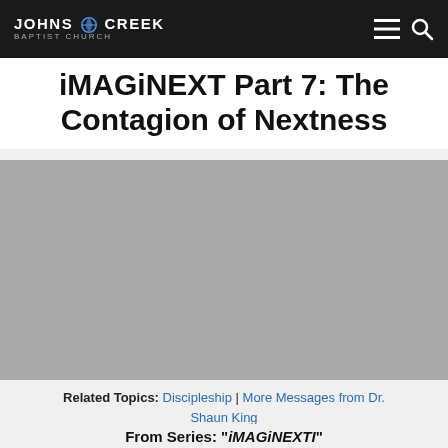Johns Creek Baptist Church
iMAGiNEXT Part 7: The Contagion of Nextness
[Figure (other): Video thumbnail placeholder — gray rectangle representing an embedded sermon video player]
Related Topics: Discipleship | More Messages from Dr. Shaun King
From Series: "iMAGiNEXTI"